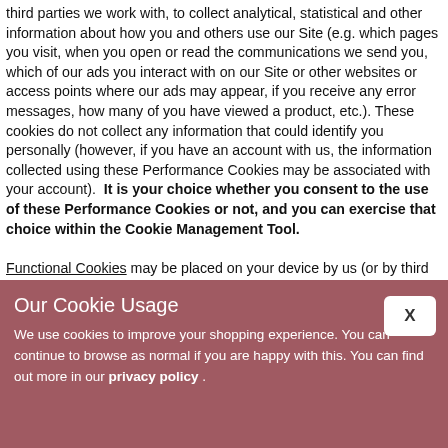third parties we work with, to collect analytical, statistical and other information about how you and others use our Site (e.g. which pages you visit, when you open or read the communications we send you, which of our ads you interact with on our Site or other websites or access points where our ads may appear, if you receive any error messages, how many of you have viewed a product, etc.). These cookies do not collect any information that could identify you personally (however, if you have an account with us, the information collected using these Performance Cookies may be associated with your account).  It is your choice whether you consent to the use of these Performance Cookies or not, and you can exercise that choice within the Cookie Management Tool.
Functional Cookies may be placed on your device by us (or by third parties we work with) and are used to improve your visit to our Site by providing you the personalised or enhanced features that
Our Cookie Usage
We use cookies to improve your shopping experience. You can continue to browse as normal if you are happy with this. You can find out more in our privacy policy .